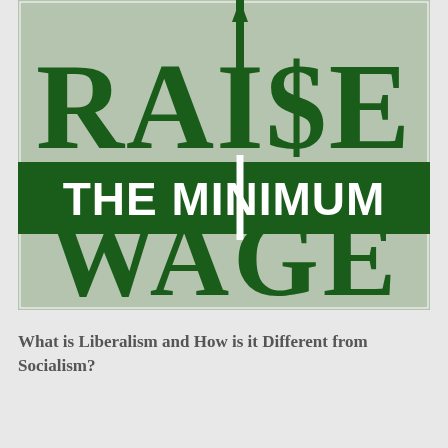[Figure (illustration): Raise the Minimum Wage graphic: large green text on sage/light green background reading 'RAI$E WAGE' with a dark green banner across the middle reading 'THE MINIMUM'. A dollar sign in the center has an upward arrow through it.]
What is Liberalism and How is it Different from Socialism?